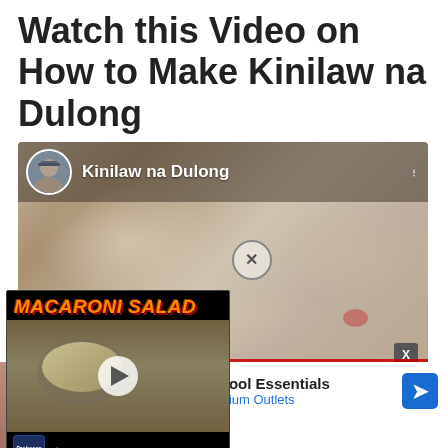Watch this Video on How to Make Kinilaw na Dulong
[Figure (screenshot): Embedded video player showing Kinilaw na Dulong with channel avatar and name, overlaid by a Macaroni Salad video thumbnail with play button, and an advertisement for Back To School Essentials at Leesburg Premium Outlets]
Kinilaw na Dulong
MACARONI SALAD
Back To School Essentials
Leesburg Premium Outlets